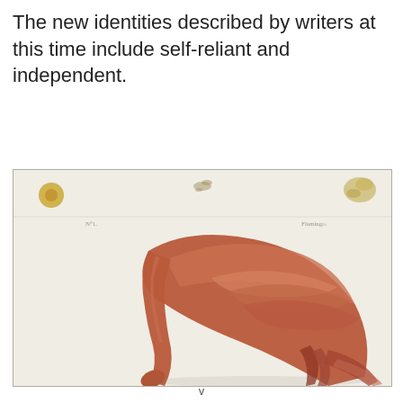The new identities described by writers at this time include self-reliant and independent.
[Figure (illustration): Vintage natural history illustration of a flamingo bending its long neck downward, with reddish-brown plumage. The image appears to be from an old ornithological book plate. Corner stamps and handwritten notations visible. Background is off-white/cream.]